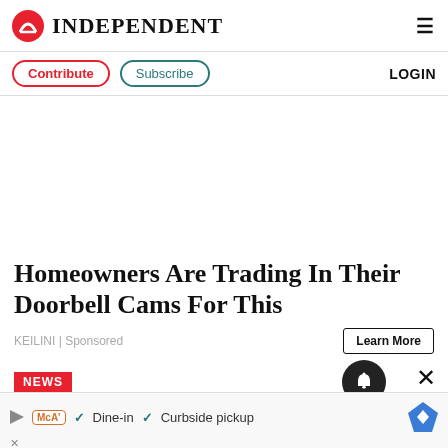INDEPENDENT
Contribute | Subscribe | LOGIN
[Figure (other): Advertisement placeholder space (blank white area)]
Homeowners Are Trading In Their Doorbell Cams For This
KEILINI | Sponsored
Learn More
NEWS
[Figure (other): Bottom advertisement banner showing McDonald's logo with text: Dine-in, Curbside pickup and a map direction icon]